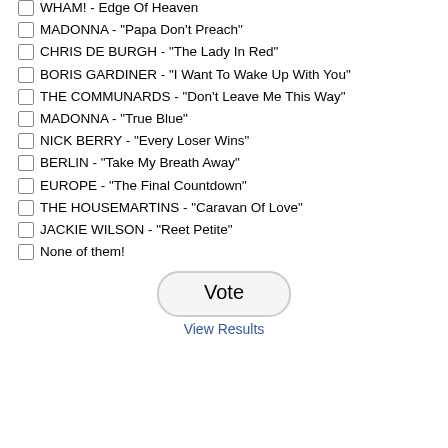WHAM! - Edge Of Heaven
MADONNA - "Papa Don't Preach"
CHRIS DE BURGH - "The Lady In Red"
BORIS GARDINER - "I Want To Wake Up With You"
THE COMMUNARDS - "Don't Leave Me This Way"
MADONNA - "True Blue"
NICK BERRY - "Every Loser Wins"
BERLIN - "Take My Breath Away"
EUROPE - "The Final Countdown"
THE HOUSEMARTINS - "Caravan Of Love"
JACKIE WILSON - "Reet Petite"
None of them!
Vote
View Results